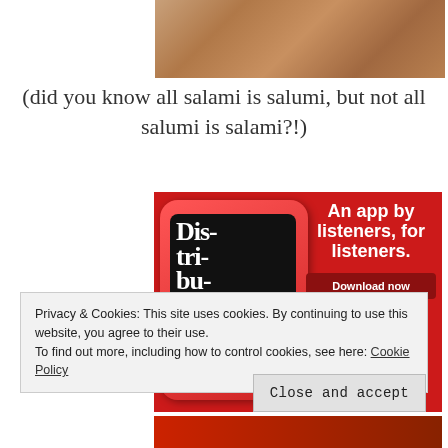[Figure (photo): Close-up photo of salami/salumi meat texture at top of page]
(did you know all salami is salumi, but not all salumi is salami?!)
[Figure (illustration): Advertisement banner with red background showing a podcast app on a smartphone. Text reads 'An app by listeners, for listeners.' with a 'Download now' button. Shows 'Dis-tri-bu-ted' podcast on screen.]
Privacy & Cookies: This site uses cookies. By continuing to use this website, you agree to their use.
To find out more, including how to control cookies, see here: Cookie Policy
Close and accept
[Figure (photo): Partial photo visible at bottom of page, appears to show red/food related content]